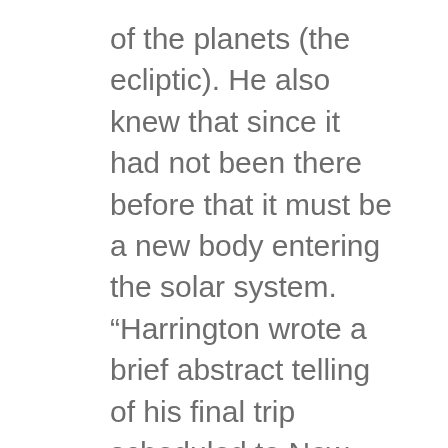of the planets (the ecliptic). He also knew that since it had not been there before that it must be a new body entering the solar system. “Harrington wrote a brief abstract telling of his final trip scheduled to New Zealand in the Spring month of May to perform the blink photographic session with a 20 cm astrograph (approximately 8” aperture high precision camera). This seemed like what should be a routine observation and so sure was Harrington of the location of this object in the sky